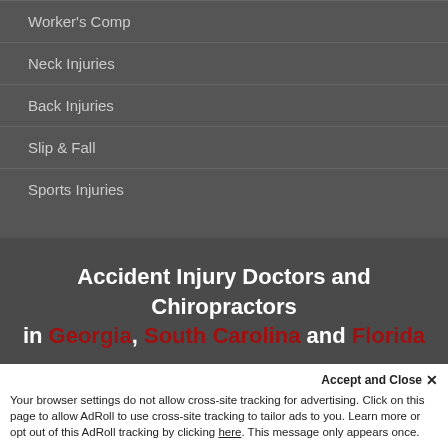Worker's Comp
Neck Injuries
Back Injuries
Slip & Fall
Sports Injuries
Accident Injury Doctors and Chiropractors in Georgia, South Carolina and Florida
[Figure (illustration): Social media icons: Facebook, Twitter, YouTube, displayed as circular outline buttons]
© Arrowhead Clinic- All Right Reserved Disclaimer;. Designed by Donovan Digital Solutions
Accept and Close ×
Your browser settings do not allow cross-site tracking for advertising. Click on this page to allow AdRoll to use cross-site tracking to tailor ads to you. Learn more or opt out of this AdRoll tracking by clicking here. This message only appears once.